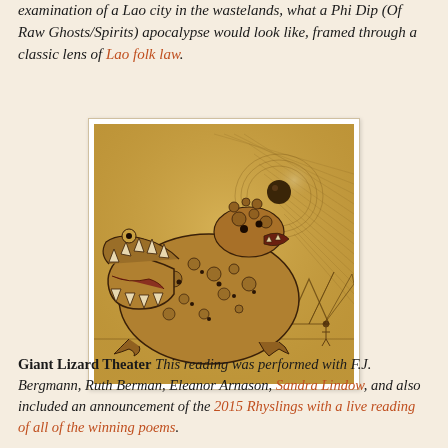examination of a Lao city in the wastelands, what a Phi Dip (Of Raw Ghosts/Spirits) apocalypse would look like, framed through a classic lens of Lao folk law.
[Figure (illustration): Pen and ink illustration on aged parchment-colored background depicting a large, grotesque, toad-like creature with multiple bumps and open jaws filled with teeth, facing left. A smaller creature sits atop it, and in the background there are mountain peaks and a swirling halo around a dark orb. A small human figure stands at the bottom right. The overall tone is dark and fantastical, drawn in a detailed cross-hatching style.]
Giant Lizard Theater This reading was performed with F.J. Bergmann, Ruth Berman, Eleanor Arnason, Sandra Lindow, and also included an announcement of the 2015 Rhyslings with a live reading of all of the winning poems.